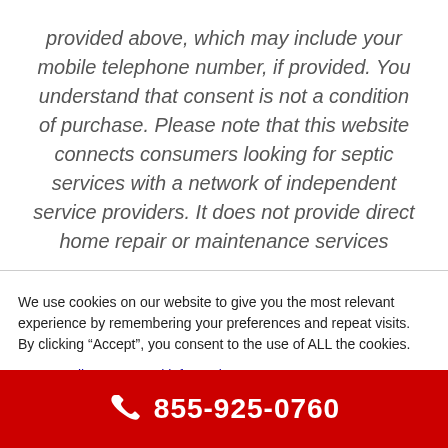provided above, which may include your mobile telephone number, if provided. You understand that consent is not a condition of purchase. Please note that this website connects consumers looking for septic services with a network of independent service providers. It does not provide direct home repair or maintenance services
We use cookies on our website to give you the most relevant experience by remembering your preferences and repeat visits. By clicking “Accept”, you consent to the use of ALL the cookies.
Do not sell my personal information.
855-925-0760